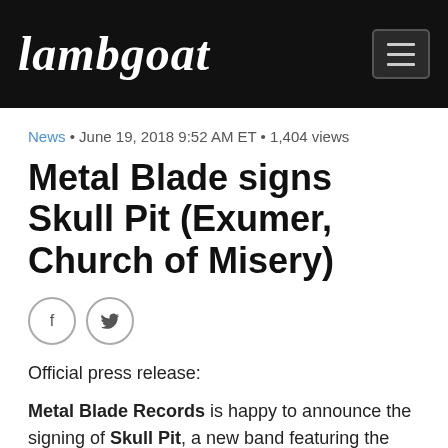Lambgoat
News • June 19, 2018 9:52 AM ET • 1,404 views
Metal Blade signs Skull Pit (Exumer, Church of Misery)
Official press release:
Metal Blade Records is happy to announce the signing of Skull Pit, a new band featuring the talents of Mem V. Stein (Exumer) and Tatsu Mikami (Church of